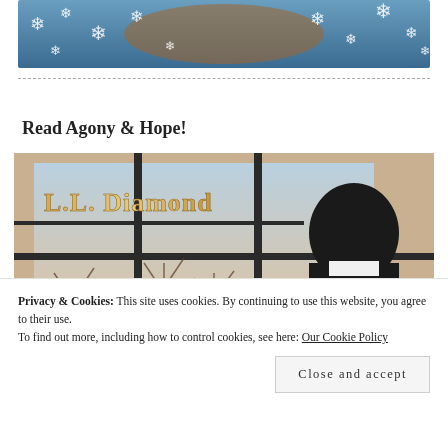[Figure (photo): A decorative banner image with snowflakes on a blue background]
Read Agony & Hope!
[Figure (photo): Book cover image showing L.L. Diamond text in gold letters on a window with a man in the background looking outside at winter trees]
Privacy & Cookies: This site uses cookies. By continuing to use this website, you agree to their use.
To find out more, including how to control cookies, see here: Our Cookie Policy
Close and accept